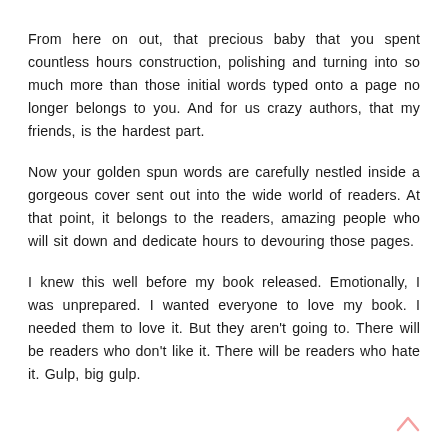From here on out, that precious baby that you spent countless hours construction, polishing and turning into so much more than those initial words typed onto a page no longer belongs to you. And for us crazy authors, that my friends, is the hardest part.
Now your golden spun words are carefully nestled inside a gorgeous cover sent out into the wide world of readers. At that point, it belongs to the readers, amazing people who will sit down and dedicate hours to devouring those pages.
I knew this well before my book released. Emotionally, I was unprepared. I wanted everyone to love my book. I needed them to love it. But they aren't going to. There will be readers who don't like it. There will be readers who hate it. Gulp, big gulp.